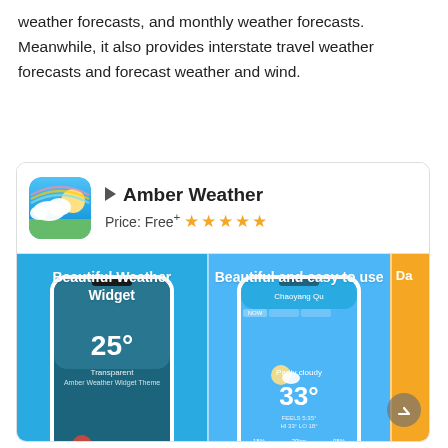weather forecasts, and monthly weather forecasts. Meanwhile, it also provides interstate travel weather forecasts and forecast weather and wind.
[Figure (screenshot): App store listing card for 'Amber Weather' showing app icon, name, price (Free+), 5-star rating, and three screenshot previews: 'Beautiful Weather Widget', 'Beautiful and easy to use', and a partially visible third screen on yellow background.]